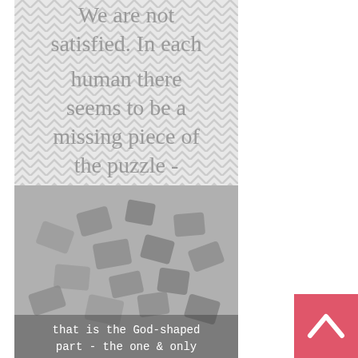[Figure (illustration): Chevron pattern background (gray and white zigzag) with large gray serif text reading: 'We are not satisfied. In each human there seems to be a missing piece of the puzzle -']
[Figure (photo): Photograph of scattered puzzle pieces on a light gray surface, with typewriter-style text overlay at the bottom reading: 'that is the God-shaped part - the one & only']
[Figure (other): Pink/coral back-to-top button with white upward arrow chevron in bottom right corner]